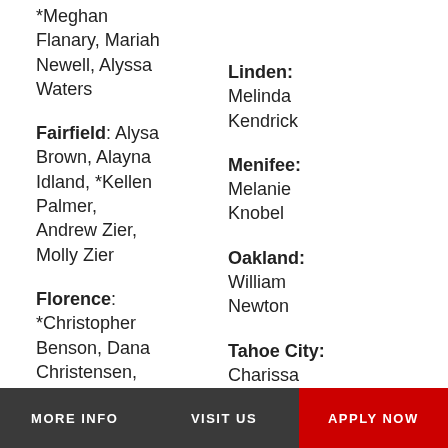*Meghan Flanary, Mariah Newell, Alyssa Waters
Fairfield: Alysa Brown, Alayna Idland, *Kellen Palmer, Andrew Zier, Molly Zier
Florence: *Christopher Benson, Dana Christensen, Lacie Krier, Abbie
Linden: Melinda Kendrick
Menifee: Melanie Knobel
Oakland: William Newton
Tahoe City: Charissa Glander
Tustin: Linh
MORE INFO   VISIT US   APPLY NOW